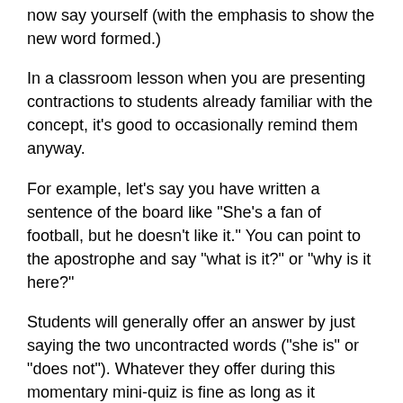now say yourself (with the emphasis to show the new word formed.)
In a classroom lesson when you are presenting contractions to students already familiar with the concept, it's good to occasionally remind them anyway.
For example, let's say you have written a sentence of the board like "She's a fan of football, but he doesn't like it." You can point to the apostrophe and say "what is it?" or "why is it here?"
Students will generally offer an answer by just saying the two uncontracted words ("she is" or "does not"). Whatever they offer during this momentary mini-quiz is fine as long as it confirms their understanding of the concept.
A technique for indicating points of view
This is a technique for indicating points of view (first person, second person etc.) in both singular and plural forms.